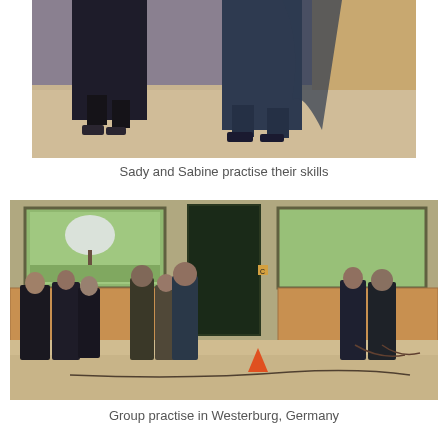[Figure (photo): Close-up photo of two people (Sady and Sabine) from the waist down, wearing dark traditional martial arts or equestrian attire, standing on sandy ground inside what appears to be an equestrian arena.]
Sady and Sabine practise their skills
[Figure (photo): Group photo taken inside an equestrian arena in Westerburg, Germany. Multiple people are standing in groups on sandy ground. Large windows in the background show green trees and lawn outside. A dark green door is visible in the center background. Wooden wall panels are visible on the sides. An orange traffic cone is visible on the right side.]
Group practise in Westerburg, Germany